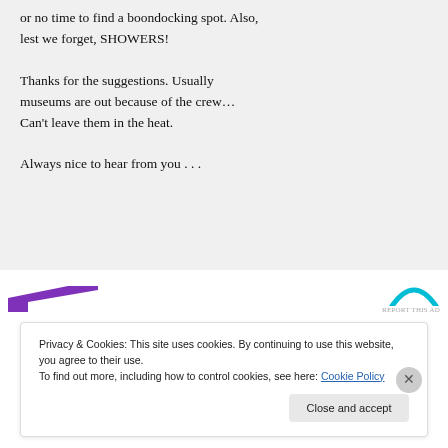or no time to find a boondocking spot. Also, lest we forget, SHOWERS!

Thanks for the suggestions. Usually museums are out because of the crew… Can't leave them in the heat.

Always nice to hear from you . . .
[Figure (other): Advertisement strip with purple diagonal shape on left and cyan arc logo on right with 'REPORT THIS AD' text]
Privacy & Cookies: This site uses cookies. By continuing to use this website, you agree to their use.
To find out more, including how to control cookies, see here: Cookie Policy
Close and accept